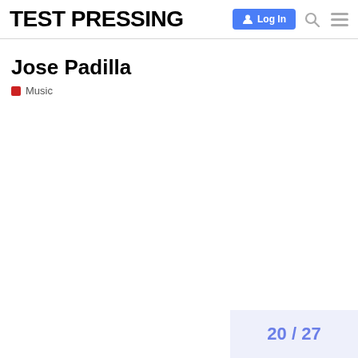TEST PRESSING
Jose Padilla
Music
20 / 27